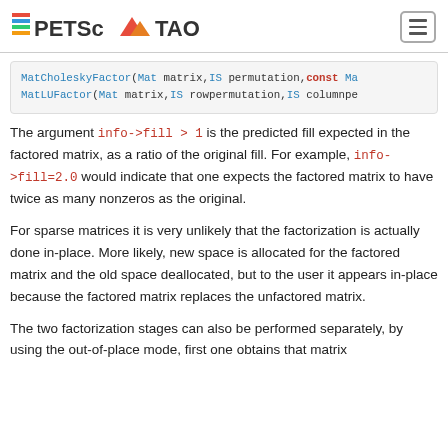PETSc TAO
[Figure (screenshot): Code block showing MatCholeskyFactor and MatLUFactor function signatures in monospace with syntax highlighting]
The argument info->fill > 1 is the predicted fill expected in the factored matrix, as a ratio of the original fill. For example, info->fill=2.0 would indicate that one expects the factored matrix to have twice as many nonzeros as the original.
For sparse matrices it is very unlikely that the factorization is actually done in-place. More likely, new space is allocated for the factored matrix and the old space deallocated, but to the user it appears in-place because the factored matrix replaces the unfactored matrix.
The two factorization stages can also be performed separately, by using the out-of-place mode, first one obtains that matrix